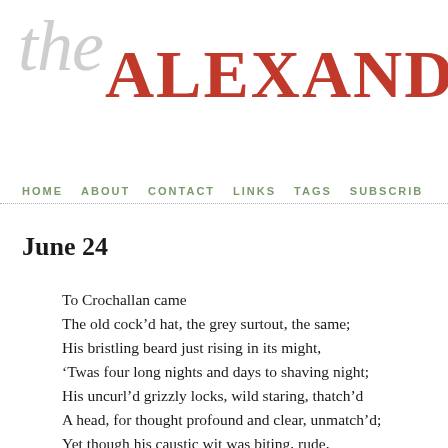the ALEXANDER S
HOME   ABOUT   CONTACT   LINKS   TAGS   SUBSCRIBE
June 24
To Crochallan came
The old cock’d hat, the grey surtout, the same;
His bristling beard just rising in its might,
‘Twas four long nights and days to shaving night;
His uncurl’d grizzly locks, wild staring, thatch’d
A head, for thought profound and clear, unmatch’d;
Yet though his caustic wit was biting, rude,
His heart was warm, benevolent, and good.